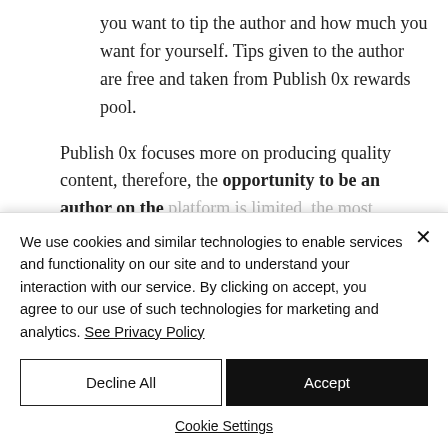you want to tip the author and how much you want for yourself. Tips given to the author are free and taken from Publish 0x rewards pool.
Publish 0x focuses more on producing quality content, therefore, the opportunity to be an author on the platform is limited, the most...
We use cookies and similar technologies to enable services and functionality on our site and to understand your interaction with our service. By clicking on accept, you agree to our use of such technologies for marketing and analytics. See Privacy Policy
Decline All
Accept
Cookie Settings